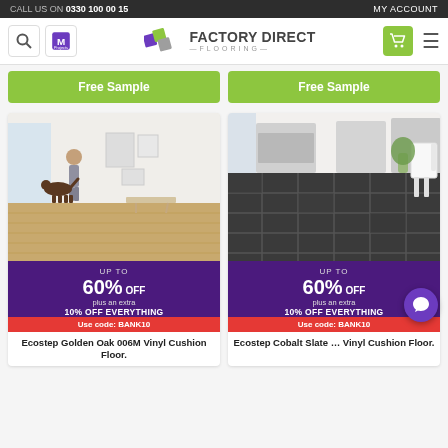CALL US ON 0330 100 00 15   MY ACCOUNT
[Figure (logo): Factory Direct Flooring logo with search icon, My Projects icon, cart icon, and hamburger menu]
Free Sample
Free Sample
[Figure (photo): Child with dog standing on light wood vinyl cushion flooring in a modern living room]
UP TO 60% OFF plus an extra 10% OFF EVERYTHING Use code: BANK10
Ecostep Golden Oak 006M Vinyl Cushion Floor.
[Figure (photo): Modern kitchen with dark slate tile vinyl cushion flooring]
UP TO 60% OFF plus an extra 10% OFF EVERYTHING Use code: BANK10
Ecostep Cobalt Slate ... Vinyl Cushion Floor.